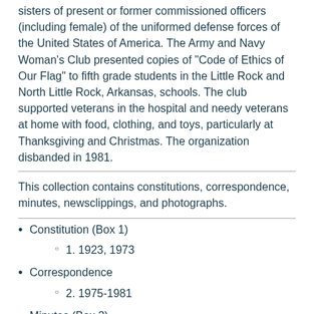sisters of present or former commissioned officers (including female) of the uniformed defense forces of the United States of America. The Army and Navy Woman's Club presented copies of "Code of Ethics of Our Flag" to fifth grade students in the Little Rock and North Little Rock, Arkansas, schools. The club supported veterans in the hospital and needy veterans at home with food, clothing, and toys, particularly at Thanksgiving and Christmas. The organization disbanded in 1981.
This collection contains constitutions, correspondence, minutes, newsclippings, and photographs.
Constitution (Box 1)
1. 1923, 1973
Correspondence
2. 1975-1981
Minutes (Box 2)
3. 1931 September-1932 May